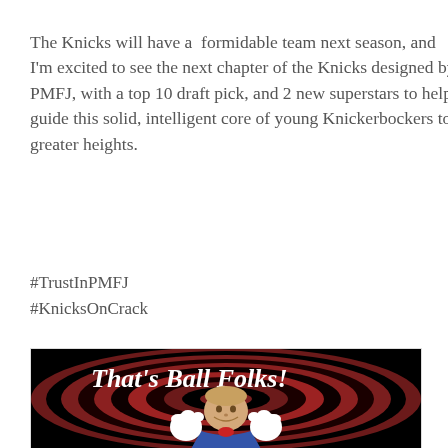The Knicks will have a formidable team next season, and I'm excited to see the next chapter of the Knicks designed by PMFJ, with a top 10 draft pick, and 2 new superstars to help guide this solid, intelligent core of young Knickerbockers to greater heights.
#TrustInPMFJ
#KnicksOnCrack
[Figure (photo): A parody image in Looney Tunes 'That's All Folks' style with concentric dark red and black circles, featuring the text 'That's Ball Folks!' in cursive white script, and a photo of a smiling man's face superimposed on the Porky Pig character with cartoon white gloves.]